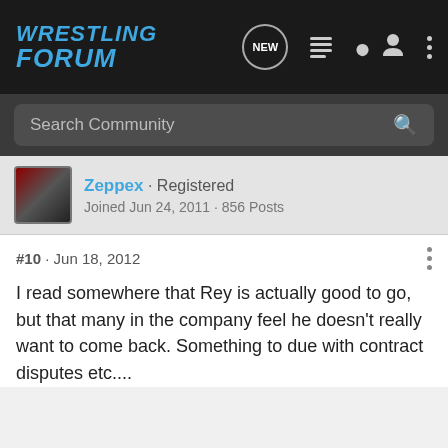WRESTLING FORUM
Search Community
Zeppex · Registered
Joined Jun 24, 2011 · 856 Posts
#10 · Jun 18, 2012
I read somewhere that Rey is actually good to go, but that many in the company feel he doesn't really want to come back. Something to due with contract disputes etc....
Reply   Quote
1 - 10 of 10 Posts